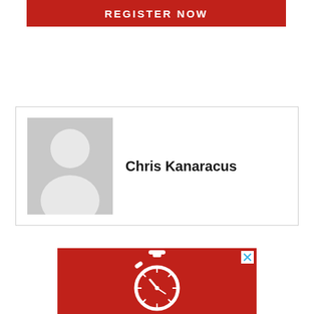[Figure (other): Red banner button with white bold text reading REGISTER NOW]
[Figure (other): Profile card with a gray placeholder avatar image on the left and the name Chris Kanaracus in bold on the right, contained in a white box with a light border]
[Figure (other): Red advertisement banner with a white stopwatch icon and a close X button in the top right corner]